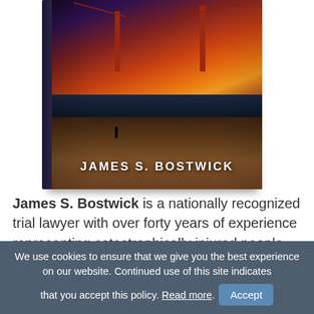[Figure (photo): Book cover showing Golden Gate Bridge at sunset with a person on the beach, author name James S. Bostwick on the cover, with book spine visible on the left]
James S. Bostwick is a nationally recognized trial lawyer with over forty years of experience representing catastrophically injured people
We use cookies to ensure that we give you the best experience on our website. Continued use of this site indicates that you accept this policy. Read more. Accept